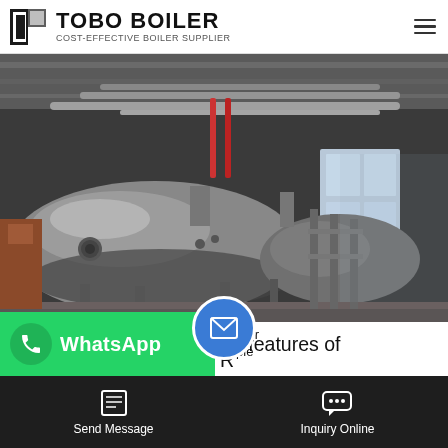TOBO BOILER — COST-EFFECTIVE BOILER SUPPLIER
[Figure (photo): Industrial boiler facility interior showing large stainless steel cylindrical boiler vessels mounted on supports, with pipe networks running overhead, red pipes visible, and windows on the right side of the factory building.]
To study the constructional features of BOILER
WhatsApp
CTI… chn… ample
Send Message   Inquiry Online